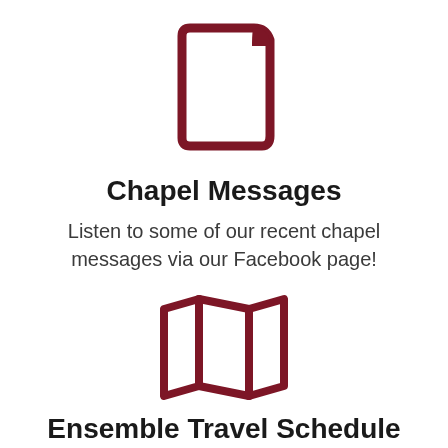[Figure (illustration): Dark red book icon outline — a closed book with rounded top-right corner fold]
Chapel Messages
Listen to some of our recent chapel messages via our Facebook page!
[Figure (illustration): Dark red map/folded map icon outline — an open folded map with three panels]
Ensemble Travel Schedule
See where the ensemble and choir are